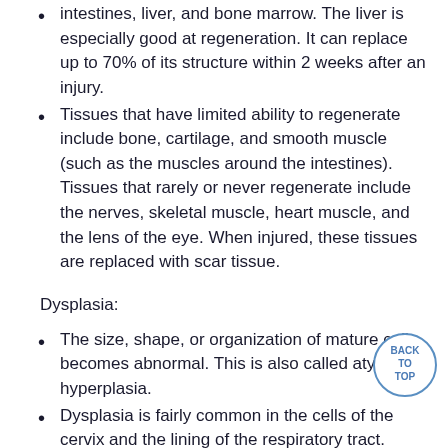intestines, liver, and bone marrow. The liver is especially good at regeneration. It can replace up to 70% of its structure within 2 weeks after an injury.
Tissues that have limited ability to regenerate include bone, cartilage, and smooth muscle (such as the muscles around the intestines). Tissues that rarely or never regenerate include the nerves, skeletal muscle, heart muscle, and the lens of the eye. When injured, these tissues are replaced with scar tissue.
Dysplasia:
The size, shape, or organization of mature cells becomes abnormal. This is also called atypical hyperplasia.
Dysplasia is fairly common in the cells of the cervix and the lining of the respiratory tract.